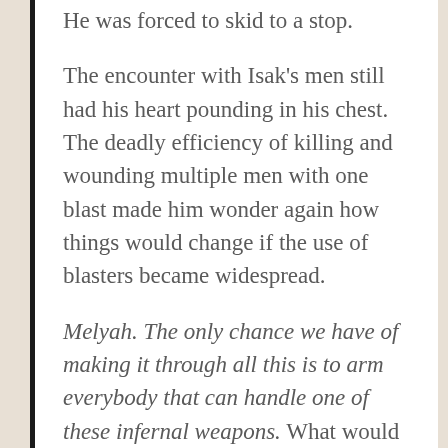He was forced to skid to a stop.
The encounter with Isak's men still had his heart pounding in his chest. The deadly efficiency of killing and wounding multiple men with one blast made him wonder again how things would change if the use of blasters became widespread.
Melyah. The only chance we have of making it through all this is to arm everybody that can handle one of these infernal weapons. What would happen afterward once the Hunwei had been